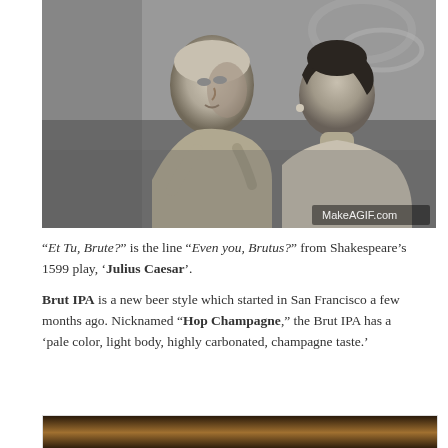[Figure (photo): Black and white photo of two people facing each other in a dramatic scene, with 'MakeAGIF.com' watermark in lower right corner.]
“Et Tu, Brute?” is the line “Even you, Brutus?” from Shakespeare’s 1599 play, ‘Julius Caesar’.
Brut IPA is a new beer style which started in San Francisco a few months ago. Nicknamed “Hop Champagne,” the Brut IPA has a ‘pale color, light body, highly carbonated, champagne taste.’
[Figure (photo): Partial view of a dark, warm-toned photograph at the bottom of the page, cut off.]